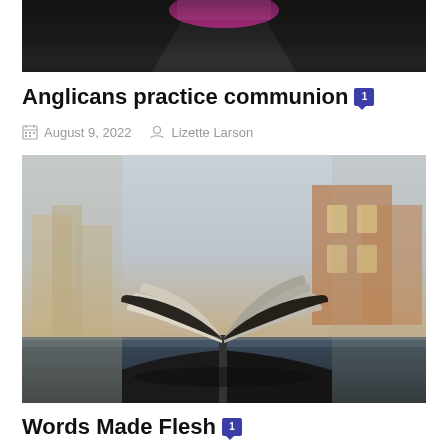[Figure (photo): Partial photo of a person wearing a dark suit and bright magenta/pink top, cropped at torso level]
Anglicans practice communion 1
August 9, 2022   Lizette Larson
[Figure (photo): Photo of an open book with pages fanned out, placed on a dark surface with blurred urban buildings in the background]
Words Made Flesh 1